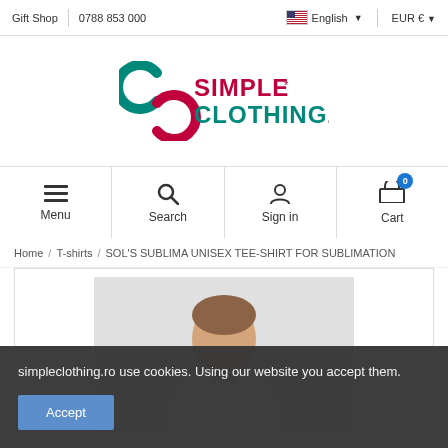Gift Shop | 0788 853 000 | English | EUR €
[Figure (logo): SimpleClothing.ro logo with stylized S icon in teal/pink and text SIMPLE CLOTHING.ro]
Menu | Search | Sign in | Cart (0)
Home / T-shirts / SOL'S SUBLIMA UNISEX TEE-SHIRT FOR SUBLIMATION
[Figure (photo): Young man wearing a white t-shirt, product photo with light grey background]
simpleclothing.ro use cookies. Using our website you accept them.
Accept